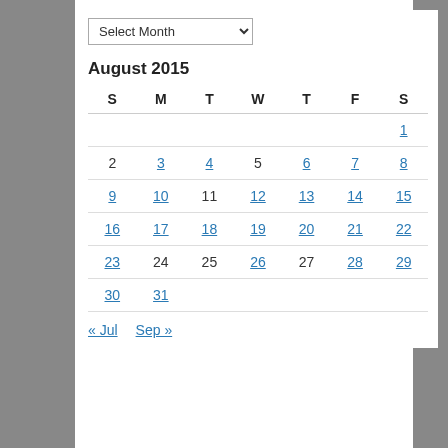| S | M | T | W | T | F | S |
| --- | --- | --- | --- | --- | --- | --- |
|  |  |  |  |  |  | 1 |
| 2 | 3 | 4 | 5 | 6 | 7 | 8 |
| 9 | 10 | 11 | 12 | 13 | 14 | 15 |
| 16 | 17 | 18 | 19 | 20 | 21 | 22 |
| 23 | 24 | 25 | 26 | 27 | 28 | 29 |
| 30 | 31 |  |  |  |  |  |
« Jul   Sep »